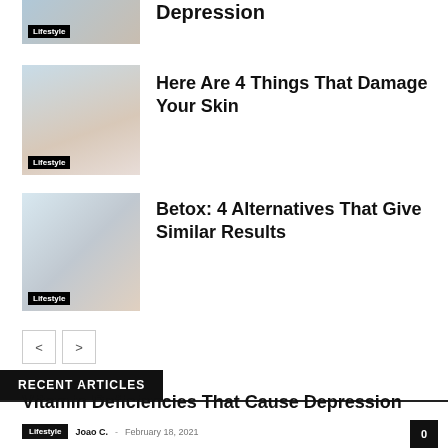[Figure (photo): Partial top cropped photo with Lifestyle tag]
Depression
[Figure (photo): Woman touching face, skincare photo with Lifestyle tag]
Here Are 4 Things That Damage Your Skin
[Figure (photo): Woman receiving laser facial treatment with Lifestyle tag]
Betox: 4 Alternatives That Give Similar Results
< >
RECENT ARTICLES
Vitamin Deficiencies That Cause Depression
Lifestyle  Joao C.  -  February 18, 2021  0